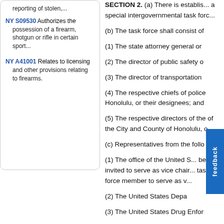reporting of stolen,...
NY S09530 Authorizes the possession of a firearm, shotgun or rifle in certain sport...
NY A41001 Relates to licensing and other provisions relating to firearms.
SECTION 2.  (a)  There is establis... a special intergovernmental task forc...
(b)  The task force shall consist of
(1)  The state attorney general or
(2)  The director of public safety o
(3)  The director of transportation
(4)  The respective chiefs of police Honolulu, or their designees; and
(5)  The respective directors of the of the City and County of Honolulu, o
(c)  Representatives from the follo
(1)  The office of the United S... be invited to serve as vice chair... task force member to serve as v...
(2)  The United States Depa
(3)  The United States Drug Enfor